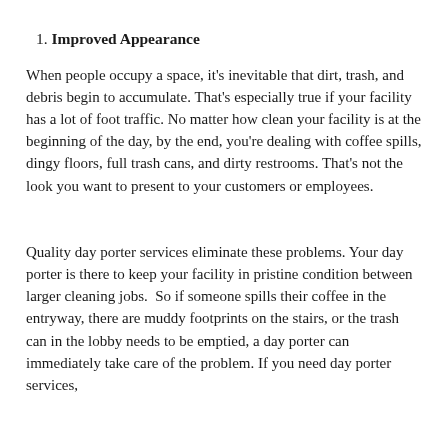1. Improved Appearance
When people occupy a space, it's inevitable that dirt, trash, and debris begin to accumulate. That's especially true if your facility has a lot of foot traffic. No matter how clean your facility is at the beginning of the day, by the end, you're dealing with coffee spills, dingy floors, full trash cans, and dirty restrooms. That's not the look you want to present to your customers or employees.
Quality day porter services eliminate these problems. Your day porter is there to keep your facility in pristine condition between larger cleaning jobs.  So if someone spills their coffee in the entryway, there are muddy footprints on the stairs, or the trash can in the lobby needs to be emptied, a day porter can immediately take care of the problem. If you need day porter services,